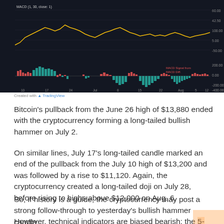[Figure (continuous-plot): MACD/Bitcoin price chart showing candlestick price action with MACD histogram below. Price line in yellow/gold on dark background. MACD histogram bars shown in teal/green (positive) and red (negative). Time axis spans roughly June through mid-August. Right side shows price scale approximately 4000-6000 range. MACD label visible on right side.]
Created with TradingView
Bitcoin's pullback from the June 26 high of $13,880 ended with the cryptocurrency forming a long-tailed bullish hammer on July 2.
On similar lines, July 17's long-tailed candle marked an end of the pullback from the July 10 high of $13,200 and was followed by a rise to $11,120. Again, the cryptocurrency created a long-tailed doji on July 28, before rising to highs above $12,000 on Aug. 6.
So, if history is a guide, the cryptocurrency may post a strong follow-through to yesterday's bullish hammer candle.
However, technical indicators are biased bearish: the 5- and 10-day MAs are trending south, the 14-day relative strength